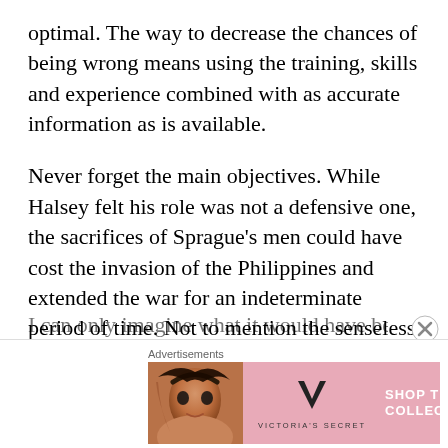optimal. The way to decrease the chances of being wrong means using the training, skills and experience combined with as accurate information as is available.
Never forget the main objectives. While Halsey felt his role was not a defensive one, the sacrifices of Sprague’s men could have cost the invasion of the Philippines and extended the war for an indeterminate period of time. Not to mention the senseless loss of men and equipment.
I can only imagine what it would have been
Advertisements
[Figure (infographic): Victoria's Secret advertisement banner with a woman's photo on the left, VS logo in center, and 'SHOP THE COLLECTION' text with a 'SHOP NOW' button on the right, pink background.]